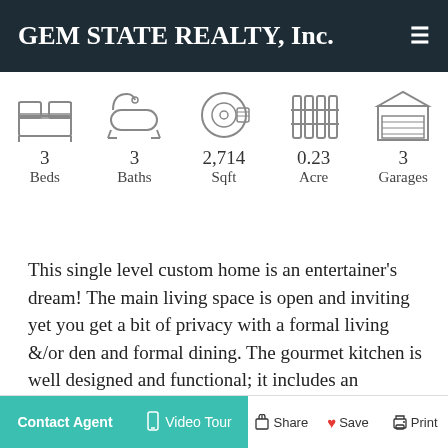GEM STATE REALTY, Inc.
[Figure (infographic): Five property icons: bed (3 Beds), bathtub (3 Baths), tape measure (2,714 Sqft), acreage/fence (0.23 Acre), garage (3 Garages)]
3 Beds   3 Baths   2,714 Sqft   0.23 Acre   3 Garages
This single level custom home is an entertainer's dream! The main living space is open and inviting yet you get a bit of privacy with a formal living &/or den and formal dining. The gourmet kitchen is well designed and functional; it includes an oversized island with with prep area and eating area. The free standing DACOR gas range is the foc int of this delightful
Contact Agent   Video Tour   Share   Save   Print